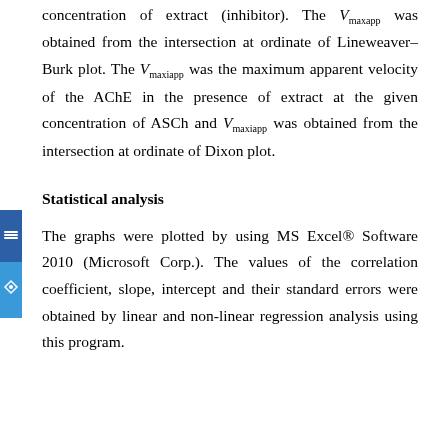concentration of extract (inhibitor). The Vmaxapp was obtained from the intersection at ordinate of Lineweaver–Burk plot. The Vmaxiapp was the maximum apparent velocity of the AChE in the presence of extract at the given concentration of ASCh and Vmaxiapp was obtained from the intersection at ordinate of Dixon plot.
Statistical analysis
The graphs were plotted by using MS Excel® Software 2010 (Microsoft Corp.). The values of the correlation coefficient, slope, intercept and their standard errors were obtained by linear and non-linear regression analysis using this program.